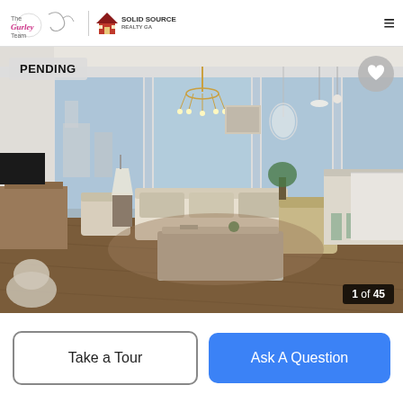TheGurleyTeam | Solid Source Realty Ga
[Figure (photo): Interior photo of a luxury condominium living room with hardwood floors, chandelier, large floor-to-ceiling windows with city and nature views, cream sofas, armchairs, coffee table, area rug, and open kitchen area. Status badge 'PENDING' in top-left, heart icon top-right, photo counter '1 of 45' bottom-right.]
PENDING
1 of 45
Take a Tour
Ask A Question